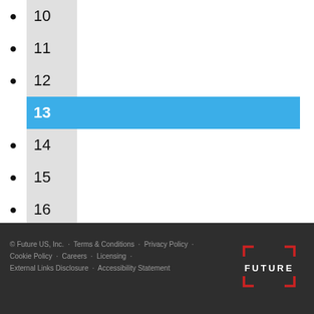10
11
12
13
14
15
16
17
...
NEXT ›
LAST »
© Future US, Inc. · Terms & Conditions · Privacy Policy · Cookie Policy · Careers · Licensing · External Links Disclosure · Accessibility Statement